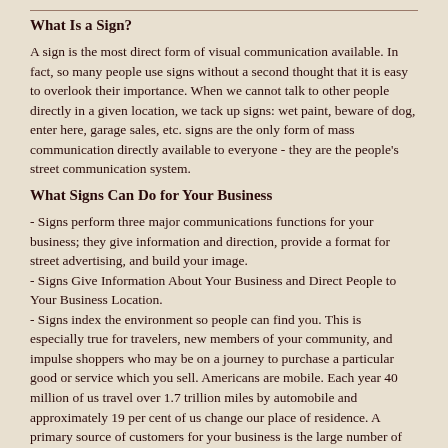What Is a Sign?
A sign is the most direct form of visual communication available. In fact, so many people use signs without a second thought that it is easy to overlook their importance. When we cannot talk to other people directly in a given location, we tack up signs: wet paint, beware of dog, enter here, garage sales, etc. signs are the only form of mass communication directly available to everyone - they are the people's street communication system.
What Signs Can Do for Your Business
- Signs perform three major communications functions for your business; they give information and direction, provide a format for street advertising, and build your image.
- Signs Give Information About Your Business and Direct People to Your Business Location.
- Signs index the environment so people can find you. This is especially true for travelers, new members of your community, and impulse shoppers who may be on a journey to purchase a particular good or service which you sell. Americans are mobile. Each year 40 million of us travel over 1.7 trillion miles by automobile and approximately 19 per cent of us change our place of residence. A primary source of customers for your business is the large number of people who are new to your community or who may be just passing through. Your sign is the most effective way of reaching this mobile or transient group of potential customer.
- Signs can correct a poor location by substituting effective communication for poor site characteristics. If your business is located on a site which is not visible or in a